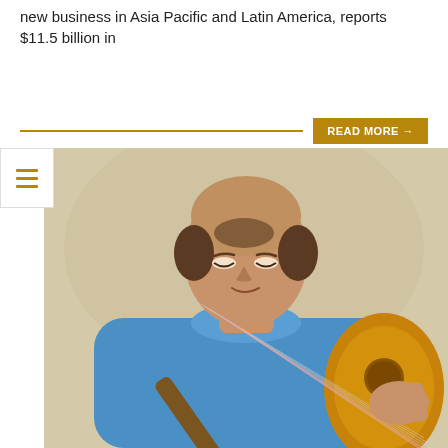new business in Asia Pacific and Latin America, reports $11.5 billion in
READ MORE →
[Figure (photo): A man in a blue shirt playing a classical acoustic guitar, looking down at the instrument. He is partially bald and photographed against a light beige background.]